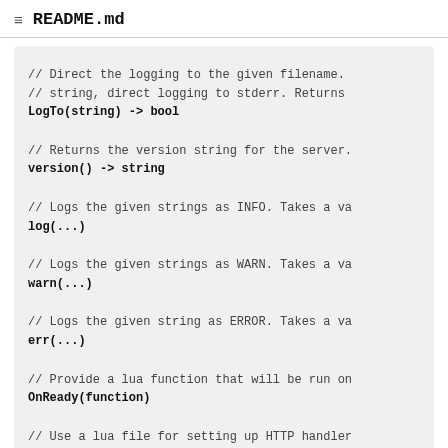README.md
// Direct the logging to the given filename.
// string, direct logging to stderr. Returns
LogTo(string) -> bool

// Returns the version string for the server.
version() -> string

// Logs the given strings as INFO. Takes a va
log(...)

// Logs the given strings as WARN. Takes a va
warn(...)

// Logs the given string as ERROR. Takes a va
err(...)

// Provide a lua function that will be run on
OnReady(function)

// Use a lua file for setting up HTTP handler